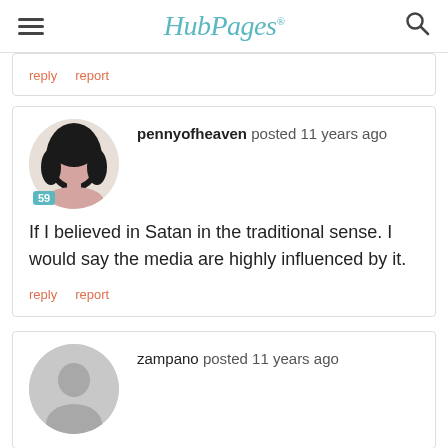HubPages
reply   report
pennyofheaven posted 11 years ago

If I believed in Satan in the traditional sense. I would say the media are highly influenced by it.

reply   report
zampano posted 11 years ago